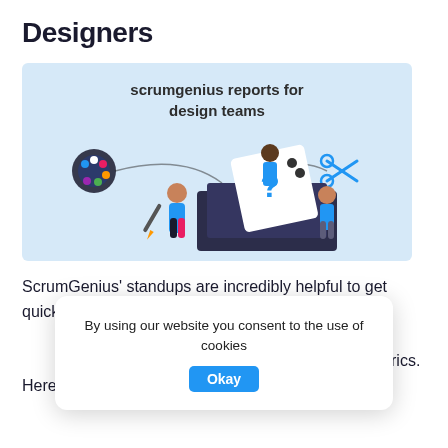Designers
[Figure (illustration): Illustration with light blue background showing cartoon designers working around a large dark box. Text reads 'scrumgenius reports for design teams'. Icons include a paint palette, scissors, and a design card with a question mark. Three illustrated figures are shown.]
ScrumGenius' standups are incredibly helpful to get quick, easy metrics on your team's goals, blockers and even more information and questions to best fit your metrics. Here are some sample questions you can ask
By using our website you consent to the use of cookies
Okay